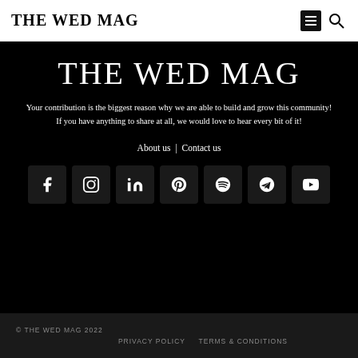THE WED MAG
THE WED MAG
Your contribution is the biggest reason why we are able to build and grow this community!
If you have anything to share at all, we would love to hear every bit of it!
About us | Contact us
[Figure (infographic): Row of 7 social media icon buttons: Facebook, Instagram, LinkedIn, Pinterest, Spotify, Telegram, YouTube — dark rounded squares on black background]
© THE WED MAG 2022
PRIVACY POLICY   TERMS & CONDITIONS